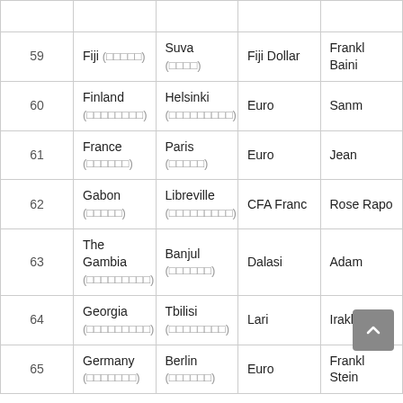| # | Country | Capital | Currency | Leader |
| --- | --- | --- | --- | --- |
| 59 | Fiji (□□□□□) | Suva (□□□□) | Fiji Dollar | Frankl Baini |
| 60 | Finland (□□□□□□□□) | Helsinki (□□□□□□□□□) | Euro | Sanm |
| 61 | France (□□□□□□) | Paris (□□□□□) | Euro | Jean |
| 62 | Gabon (□□□□□) | Libreville (□□□□□□□□□) | CFA Franc | Rose Rapo |
| 63 | The Gambia (□□□□□□□□□) | Banjul (□□□□□□) | Dalasi | Adam |
| 64 | Georgia (□□□□□□□□□) | Tbilisi (□□□□□□□□) | Lari | Irakli |
| 65 | Germany (□□□□□□□) | Berlin (□□□□□□) | Euro | Frankl Stein |